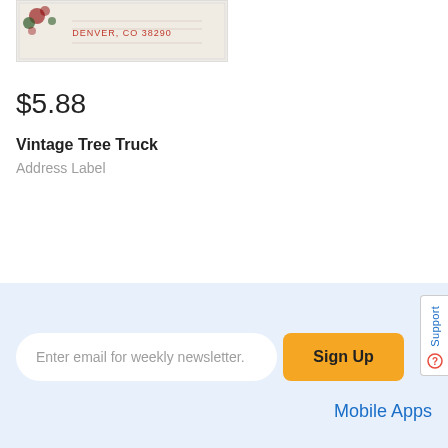[Figure (photo): Partial view of a vintage tree truck address label product image showing decorative floral/holiday design with text DENVER, CO 38290]
$5.88
Vintage Tree Truck
Address Label
Enter email for weekly newsletter.
Sign Up
Mobile Apps
Support